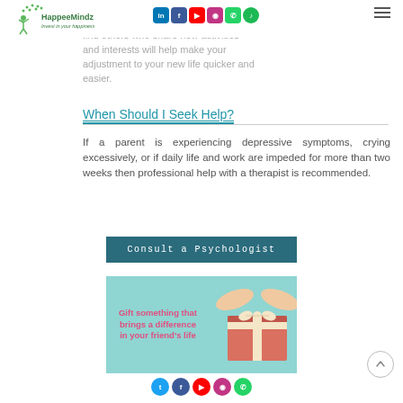HappeeMindz – Invest in your happiness
before you had children. Look for local groups, clubs, or meetups that can help find others who share new activities and interests will help make your adjustment to your new life quicker and easier.
When Should I Seek Help?
If a parent is experiencing depressive symptoms, crying excessively, or if daily life and work are impeded for more than two weeks then professional help with a therapist is recommended.
[Figure (infographic): Teal button reading 'Consult a Psychologist']
[Figure (illustration): Teal background banner with pink bold text 'Gift something that brings a difference in your friend's life' and illustration of hands holding a wrapped pink gift box]